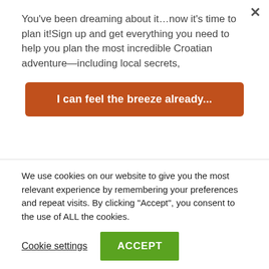You've been dreaming about it…now it's time to plan it!Sign up and get everything you need to help you plan the most incredible Croatian adventure—including local secrets,
I can feel the breeze already...
our businesses and our goals, and redirect our creative energy so we could deliver better, greener and more sustainable experiences when
We use cookies on our website to give you the most relevant experience by remembering your preferences and repeat visits. By clicking "Accept", you consent to the use of ALL the cookies.
Cookie settings
ACCEPT